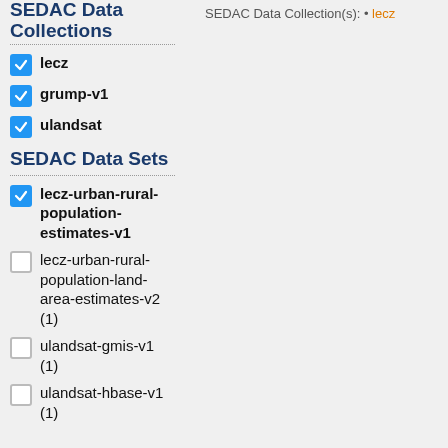SEDAC Data Collections
lecz (checked)
grump-v1 (checked)
ulandsat (checked)
SEDAC Data Sets
lecz-urban-rural-population-estimates-v1 (checked)
lecz-urban-rural-population-land-area-estimates-v2 (1) (unchecked)
ulandsat-gmis-v1 (1) (unchecked)
ulandsat-hbase-v1 (1) (unchecked)
SEDAC Data Collection(s): • lecz